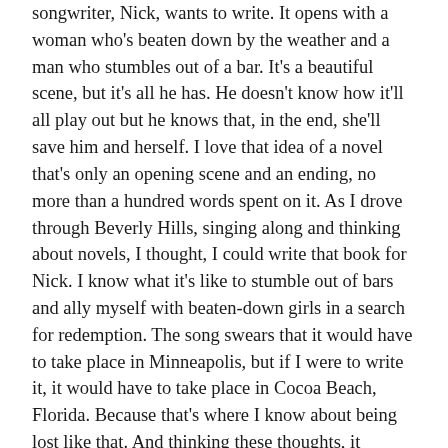songwriter, Nick, wants to write. It opens with a woman who's beaten down by the weather and a man who stumbles out of a bar. It's a beautiful scene, but it's all he has. He doesn't know how it'll all play out but he knows that, in the end, she'll save him and herself. I love that idea of a novel that's only an opening scene and an ending, no more than a hundred words spent on it. As I drove through Beverly Hills, singing along and thinking about novels, I thought, I could write that book for Nick. I know what it's like to stumble out of bars and ally myself with beaten-down girls in a search for redemption. The song swears that it would have to take place in Minneapolis, but if I were to write it, it would have to take place in Cocoa Beach, Florida. Because that's where I know about being lost like that. And thinking these thoughts, it occurred to me that I wrote this novel already. I called it Train Wreck Girl. It came out a couple of years ago on Manic D Press.
I kept thinking about Banner Pilot and books, though, because there's something kinda literary about them. At the end of side A